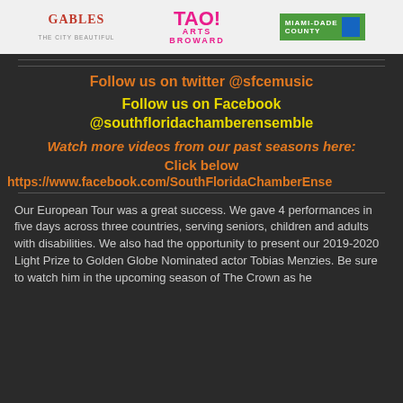[Figure (logo): Sponsor logos bar: Coral Gables The City Beautiful, TAO! Arts Broward, Miami-Dade County]
Follow us on twitter @sfcemusic
Follow us on Facebook @southfloridachamberensemble
Watch more videos from our past seasons here:
Click below
https://www.facebook.com/SouthFloridaChamberEnsemble
Our European Tour was a great success.  We gave 4 performances in five days across three countries, serving seniors, children and adults with disabilities.  We also had the opportunity to present our 2019-2020 Light Prize to Golden Globe Nominated actor Tobias Menzies.  Be sure to watch him in the upcoming season of The Crown as he